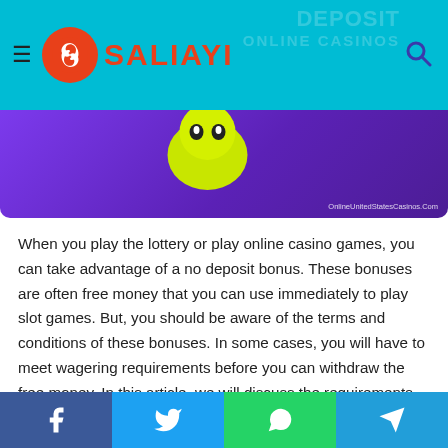SALIAYI — navigation header with logo and search icon
[Figure (photo): Purple/violet background hero image with a yellow/green character visible at top, watermark reading OnlineUnitedStatesCasinos.Com]
When you play the lottery or play online casino games, you can take advantage of a no deposit bonus. These bonuses are often free money that you can use immediately to play slot games. But, you should be aware of the terms and conditions of these bonuses. In some cases, you will have to meet wagering requirements before you can withdraw the free money. In this article, we will discuss the requirements for these bonuses, and also show you how to claim them.
Can I claim a no-deposit
Social share buttons: Facebook, Twitter, WhatsApp, Telegram